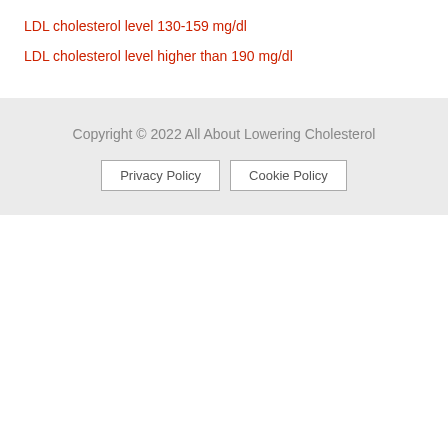LDL cholesterol level 130-159 mg/dl
LDL cholesterol level higher than 190 mg/dl
Copyright © 2022 All About Lowering Cholesterol
Privacy Policy
Cookie Policy